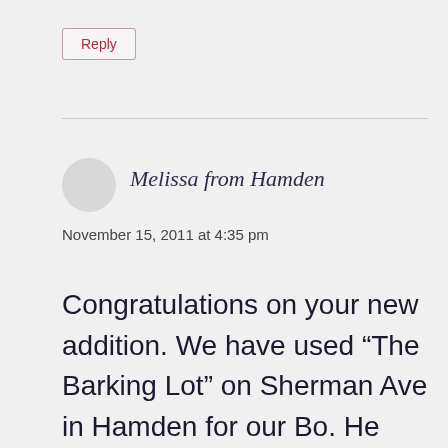Reply
Melissa from Hamden
November 15, 2011 at 4:35 pm
Congratulations on your new addition. We have used “The Barking Lot” on Sherman Ave in Hamden for our Bo. He loves it there! Day care during the day, very social with indoor and outdoor socializing/play time and your choice of kennel size for night time, some even